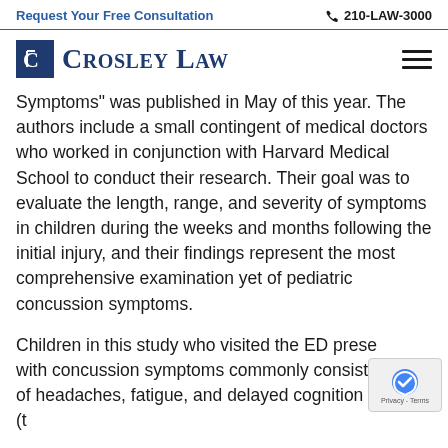Request Your Free Consultation   📞 210-LAW-3000
[Figure (logo): Crosley Law firm logo with blue C icon and text 'Crosley Law' in navy serif font, hamburger menu icon on right]
Symptoms" was published in May of this year. The authors include a small contingent of medical doctors who worked in conjunction with Harvard Medical School to conduct their research. Their goal was to evaluate the length, range, and severity of symptoms in children during the weeks and months following the initial injury, and their findings represent the most comprehensive examination yet of pediatric concussion symptoms.
Children in this study who visited the ED presented with concussion symptoms commonly consisting of headaches, fatigue, and delayed cognition (thinking more than one ought to think). However, from